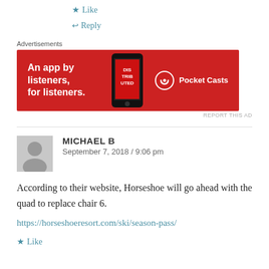★ Like
↩ Reply
Advertisements
[Figure (illustration): Pocket Casts advertisement banner: red background with text 'An app by listeners, for listeners.' and Pocket Casts logo on right, podcast app shown on a phone in center.]
REPORT THIS AD
MICHAEL B
September 7, 2018 / 9:06 pm
According to their website, Horseshoe will go ahead with the quad to replace chair 6.
https://horseshoeresort.com/ski/season-pass/
★ Like